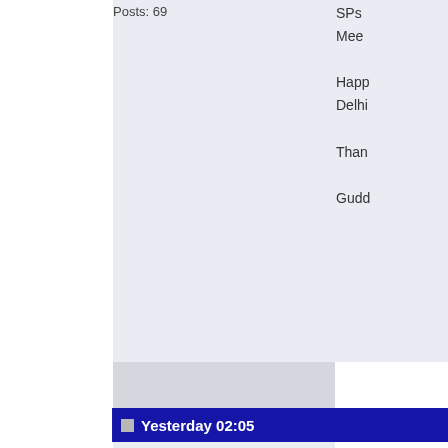Posts: 69
SPs Meet

Happy
Delhi

Than

Gudd
Yesterday 02:05
DeveshA
Senior Member
Posts: 271